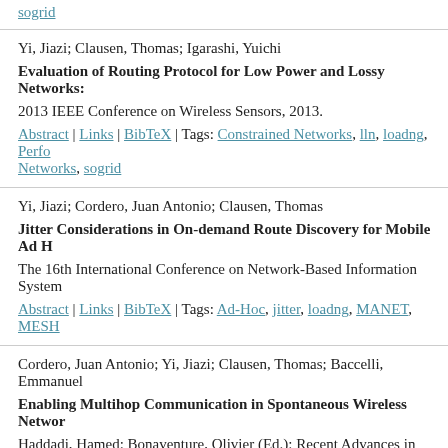sogrid
Yi, Jiazi; Clausen, Thomas; Igarashi, Yuichi
Evaluation of Routing Protocol for Low Power and Lossy Networks:
2013 IEEE Conference on Wireless Sensors, 2013.
Abstract | Links | BibTeX | Tags: Constrained Networks, lln, loadng, Perfo Networks, sogrid
Yi, Jiazi; Cordero, Juan Antonio; Clausen, Thomas
Jitter Considerations in On-demand Route Discovery for Mobile Ad H
The 16th International Conference on Network-Based Information Syste
Abstract | Links | BibTeX | Tags: Ad-Hoc, jitter, loadng, MANET, MESH
Cordero, Juan Antonio; Yi, Jiazi; Clausen, Thomas; Baccelli, Emmanuel
Enabling Multihop Communication in Spontaneous Wireless Networ
Haddadi, Hamed; Bonaventure, Olivier (Ed.): Recent Advances in Netwo SIGCOMM, 2013.
Links | BibTeX | Tags: Ad-Hoc, lln, loadng, MANET, MPR, olsr, OSPF
Clausen, Thomas; Camacho, Alberto; Yi, Jiazi; de Verdiere, Axel Colin;